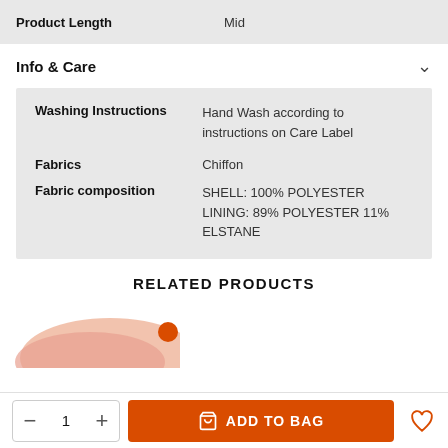|  |  |
| --- | --- |
| Product Length | Mid |
Info & Care
|  |  |
| --- | --- |
| Washing Instructions | Hand Wash according to instructions on Care Label |
| Fabrics | Chiffon |
| Fabric composition | SHELL: 100% POLYESTER LINING: 89% POLYESTER 11% ELSTANE |
RELATED PRODUCTS
[Figure (photo): Partially visible product thumbnail image at bottom left]
1
ADD TO BAG